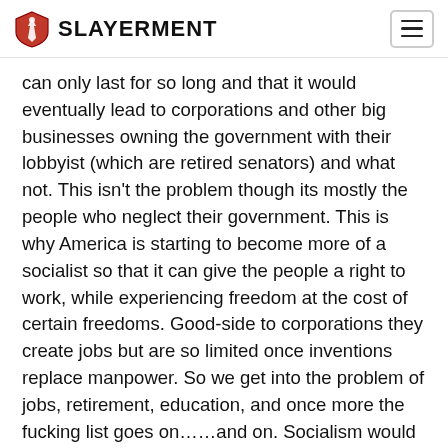SLAYERMENT
can only last for so long and that it would eventually lead to corporations and other big businesses owning the government with their lobbyist (which are retired senators) and what not. This isn't the problem though its mostly the people who neglect their government. This is why America is starting to become more of a socialist so that it can give the people a right to work, while experiencing freedom at the cost of certain freedoms. Good-side to corporations they create jobs but are so limited once inventions replace manpower. So we get into the problem of jobs, retirement, education, and once more the fucking list goes on……and on. Socialism would work only that it would fail like the rest would. I could agree with slayer on a few things but how you put one as superior to the other is a wrong way of doing it. Another